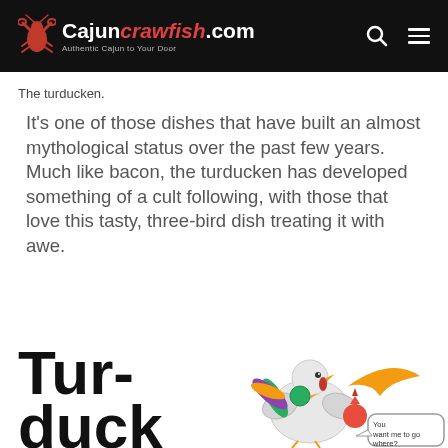Cajuncrawfish.com — Authentic Cajun to Your Door
The turducken.
It's one of those dishes that have built an almost mythological status over the past few years. Much like bacon, the turducken has developed something of a cult following, with those that love this tasty, three-bird dish treating it with awe.
[Figure (illustration): Illustrated infographic showing the word 'Turducken' in large bold black font with cartoon birds (turkey, duck, chicken) stacked together, with a speech bubble saying 'You want me to go where?']